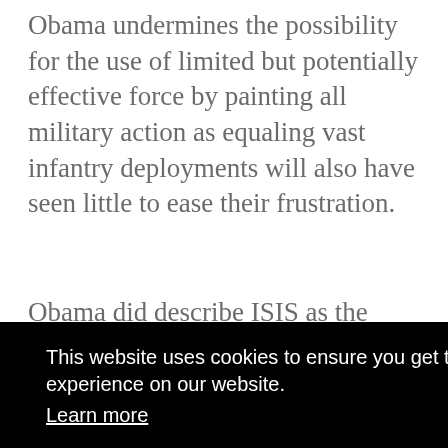Obama undermines the possibility for the use of limited but potentially effective force by painting all military action as equaling vast infantry deployments will also have seen little to ease their frustration.
Obama did describe ISIS as the “face of evil” and said that the “babaric
in
This website uses cookies to ensure you get the best experience on our website. Learn more
Got it!
described